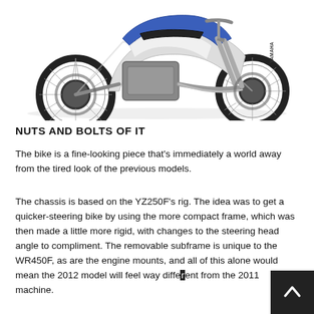[Figure (photo): Yamaha dirt bike / motocross motorcycle (WR450F) shown in profile view, white and blue color scheme, on white background]
NUTS AND BOLTS OF IT
The bike is a fine-looking piece that’s immediately a world away from the tired look of the previous models.
The chassis is based on the YZ250F’s rig. The idea was to get a quicker-steering bike by using the more compact frame, which was then made a little more rigid, with changes to the steering head angle to compliment. The removable subframe is unique to the WR450F, as are the engine mounts, and all of this alone would mean the 2012 model will feel way different from the 2011 machine.